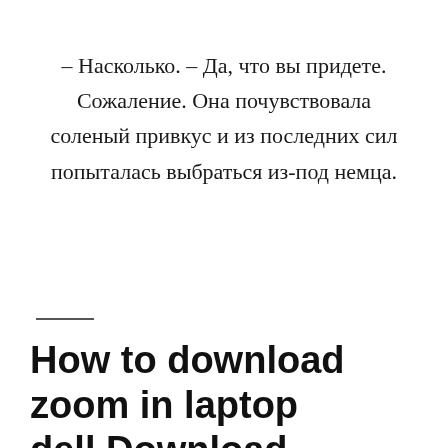– Насколько. – Да, что вы придете. Сожаление. Она почувствовала соленый привкус и из последних сил попыталась выбраться из-под немца.
How to download zoom in laptop dell.Download